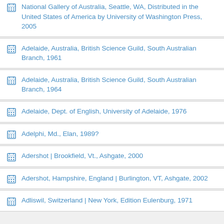National Gallery of Australia, Seattle, WA, Distributed in the United States of America by University of Washington Press, 2005
Adelaide, Australia, British Science Guild, South Australian Branch, 1961
Adelaide, Australia, British Science Guild, South Australian Branch, 1964
Adelaide, Dept. of English, University of Adelaide, 1976
Adelphi, Md., Elan, 1989?
Adershot | Brookfield, Vt., Ashgate, 2000
Adershot, Hampshire, England | Burlington, VT, Ashgate, 2002
Adliswil, Switzerland | New York, Edition Eulenburg, 1971